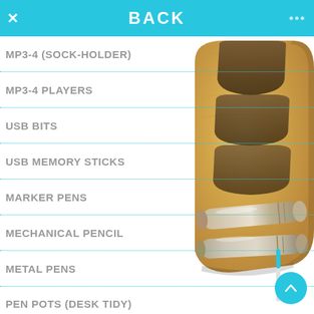BACK
MP3-4 (SOCK-HOLDER)
MP3-4 PLAYERS
USB BITS
USB MEMORY STICKS
MARKER PENS
MECHANICAL PENCIL
METAL PENS
PEN POTS (DESK TIDY)
[Figure (photo): Wooden desk organizer/pen holder with metal pens inside, showing a curved bamboo-style holder with silver pens]